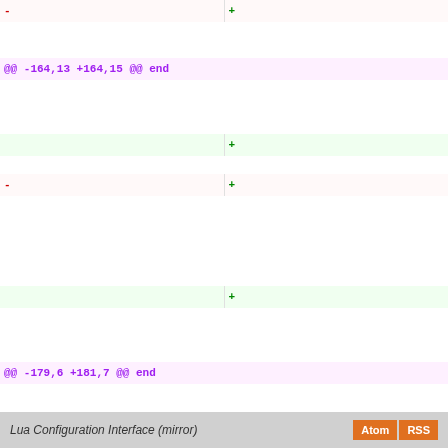- [removed line] + [added line]
@@ -164,13 +164,15 @@ end
+ [added line]
- [removed line] + [added line]
+ [added line]
@@ -179,6 +181,7 @@ end
+ [added line]
Lua Configuration Interface (mirror)   Atom  RSS